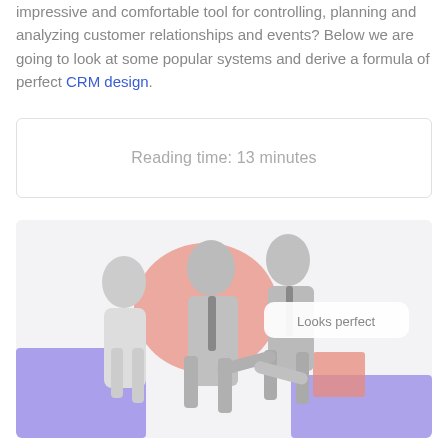impressive and comfortable tool for controlling, planning and analyzing customer relationships and events? Below we are going to look at some popular systems and derive a formula of perfect CRM design.
Reading time: 13 minutes
[Figure (photo): Black and white photo of two men shaking hands and a woman standing in the background, overlaid with colorful abstract shapes (coral/salmon blob, purple rectangle) on a light gray background. A speech bubble or callout says 'Looks perfect'.]